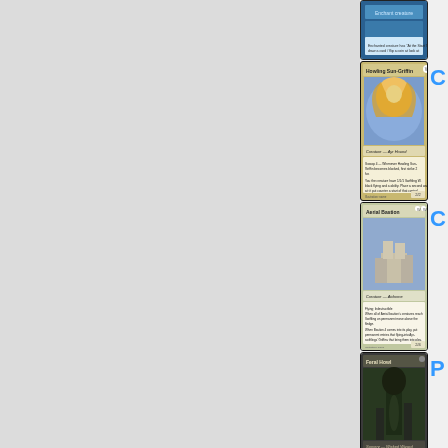[Figure (photo): Magic: The Gathering card 1 - partial blue card at top]
[Figure (photo): Magic: The Gathering card - Howling Sun-Griffin, white creature card]
C
[Figure (photo): Magic: The Gathering card - Aerial Bastion, white creature card]
C
[Figure (photo): Magic: The Gathering card - Feral Howl, black/artifact card]
P
[Figure (photo): Magic: The Gathering card - Predicting Sanctuary, green sorcery card]
P
[Figure (photo): Magic: The Gathering card - Predicting Heaven, partial at bottom]